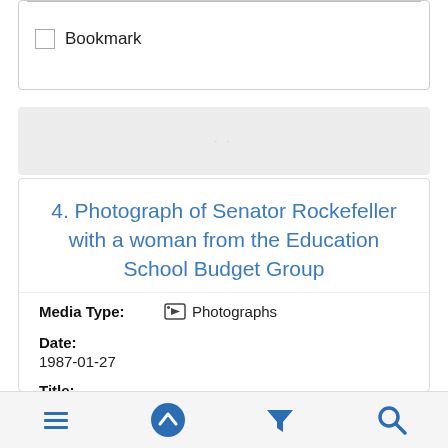Bookmark
4. Photograph of Senator Rockefeller with a woman from the Education School Budget Group
Media Type: Photographs
Date: 1987-01-27
Title: Photograph of Senator Rockefeller with a woman from